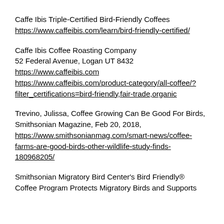Caffe Ibis Triple-Certified Bird-Friendly Coffees https://www.caffeibis.com/learn/bird-friendly-certified/
Caffe Ibis Coffee Roasting Company 52 Federal Avenue, Logan UT 8432 https://www.caffeibis.com https://www.caffeibis.com/product-category/all-coffee/?filter_certifications=bird-friendly,fair-trade,organic
Trevino, Julissa, Coffee Growing Can Be Good For Birds, Smithsonian Magazine, Feb 20, 2018, https://www.smithsonianmag.com/smart-news/coffee-farms-are-good-birds-other-wildlife-study-finds-180968205/
Smithsonian Migratory Bird Center's Bird Friendly® Coffee Program Protects Migratory Birds and Supports